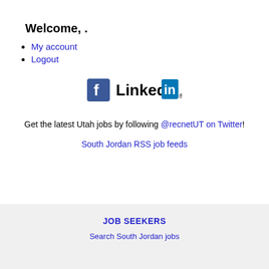Welcome, .
My account
Logout
[Figure (logo): Facebook and LinkedIn social media icons]
Get the latest Utah jobs by following @recnetUT on Twitter!
South Jordan RSS job feeds
JOB SEEKERS
Search South Jordan jobs